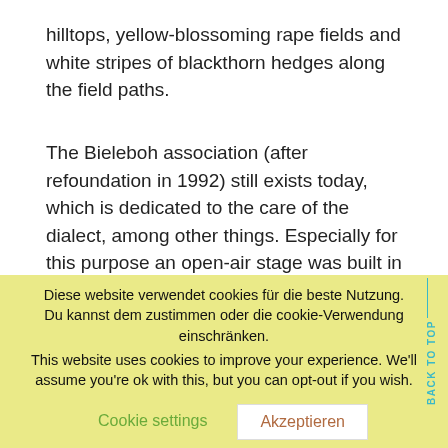hilltops, yellow-blossoming rape fields and white stripes of blackthorn hedges along the field paths.
The Bieleboh association (after refoundation in 1992) still exists today, which is dedicated to the care of the dialect, among other things. Especially for this purpose an open-air stage was built in 2001.
[Figure (photo): Partial photo of a building or tower against a blue sky, partially covered by a cookie consent overlay.]
Diese website verwendet cookies für die beste Nutzung. Du kannst dem zustimmen oder die cookie-Verwendung einschränken.
This website uses cookies to improve your experience. We'll assume you're ok with this, but you can opt-out if you wish.
Cookie settings    Akzeptieren